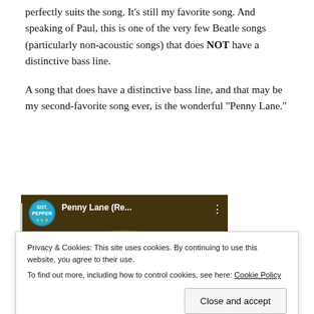perfectly suits the song. It's still my favorite song. And speaking of Paul, this is one of the very few Beatle songs (particularly non-acoustic songs) that does NOT have a distinctive bass line.
A song that does have a distinctive bass line, and that may be my second-favorite song ever, is the wonderful “Penny Lane.”
[Figure (screenshot): YouTube video thumbnail for 'Penny Lane (Re...' showing The Beatles Sgt. Pepper album art with a red play button overlay]
Privacy & Cookies: This site uses cookies. By continuing to use this website, you agree to their use.
To find out more, including how to control cookies, see here: Cookie Policy

Close and accept